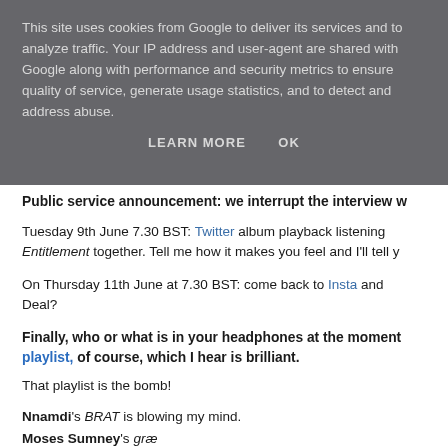This site uses cookies from Google to deliver its services and to analyze traffic. Your IP address and user-agent are shared with Google along with performance and security metrics to ensure quality of service, generate usage statistics, and to detect and address abuse.
LEARN MORE   OK
Public service announcement: we interrupt the interview w...
Tuesday 9th June 7.30 BST: Twitter album playback listening... Entitlement together. Tell me how it makes you feel and I'll tell y...
On Thursday 11th June at 7.30 BST: come back to Insta and... Deal?
Finally, who or what is in your headphones at the moment... playlist, of course, which I hear is brilliant.
That playlist is the bomb!
Nnamdi's BRAT is blowing my mind.
Moses Sumney's græ